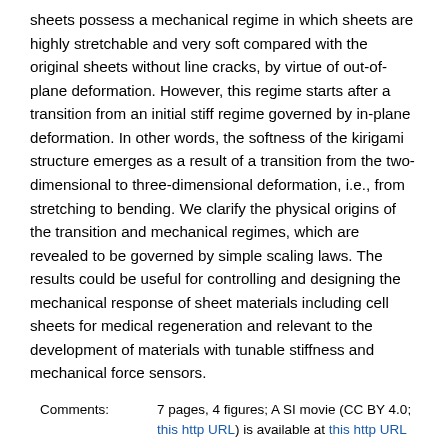sheets possess a mechanical regime in which sheets are highly stretchable and very soft compared with the original sheets without line cracks, by virtue of out-of-plane deformation. However, this regime starts after a transition from an initial stiff regime governed by in-plane deformation. In other words, the softness of the kirigami structure emerges as a result of a transition from the two-dimensional to three-dimensional deformation, i.e., from stretching to bending. We clarify the physical origins of the transition and mechanical regimes, which are revealed to be governed by simple scaling laws. The results could be useful for controlling and designing the mechanical response of sheet materials including cell sheets for medical regeneration and relevant to the development of materials with tunable stiffness and mechanical force sensors.
| Field | Value |
| --- | --- |
| Comments: | 7 pages, 4 figures; A SI movie (CC BY 4.0; this http URL) is available at this http URL |
| Subjects: | Soft Condensed Matter (cond-mat.soft); Materials Science (cond-mat.mtrl-sci); Statistical Mechanics (cond-mat.stat-mech); Adaptation and Self-Organizing Systems (nlin.AO); Popular Physics (physics.pop-ph) |
| Cite as: | arXiv:1604.06876 [cond-mat.soft] (or arXiv:1604.06876v2 [cond-mat.soft] for this version) https://doi.org/10.48550/arXiv.1604.06876 |